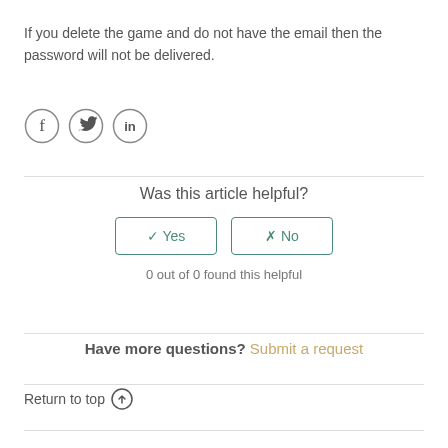If you delete the game and do not have the email then the password will not be delivered.
[Figure (illustration): Three social media icons in circles: Facebook (f), Twitter (bird), LinkedIn (in)]
Was this article helpful?
✓ Yes   ✗ No (buttons)
0 out of 0 found this helpful
Have more questions? Submit a request
Return to top ↑